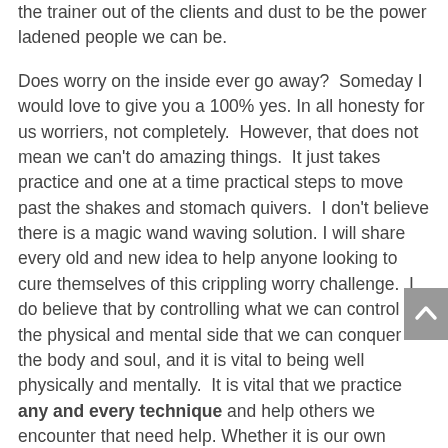the trainer out of the clients and dust to be the power ladened people we can be.

Does worry on the inside ever go away?  Someday I would love to give you a 100% yes. In all honesty for us worriers, not completely.  However, that does not mean we can't do amazing things.  It just takes practice and one at a time practical steps to move past the shakes and stomach quivers.  I don't believe there is a magic wand waving solution. I will share every old and new idea to help anyone looking to cure themselves of this crippling worry challenge.  I do believe that by controlling what we can control on the physical and mental side that we can conquer the body and soul, and it is vital to being well physically and mentally.  It is vital that we practice any and every technique and help others we encounter that need help. Whether it is our own children, others we are involved with, or via a wholesale life of helping other people, do it and watch your strength grow as a